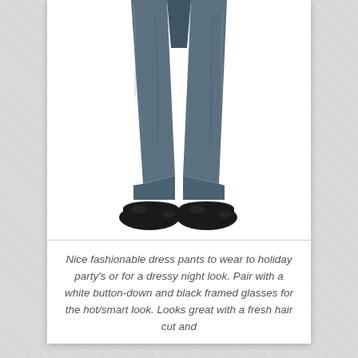[Figure (photo): Photo of the lower half of a person wearing steel blue/dark teal slim-fit dress pants and black Oxford dress shoes, shot against a white background.]
Nice fashionable dress pants to wear to holiday party's or for a dressy night look. Pair with a white button-down and black framed glasses for the hot/smart look. Looks great with a fresh hair cut and